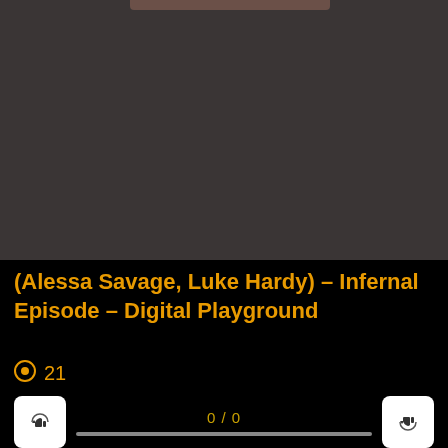[Figure (screenshot): Dark video player area with brownish/dark gray background, partial image visible at top]
(Alessa Savage, Luke Hardy) – Infernal Episode – Digital Playground
👁 21
0 / 0